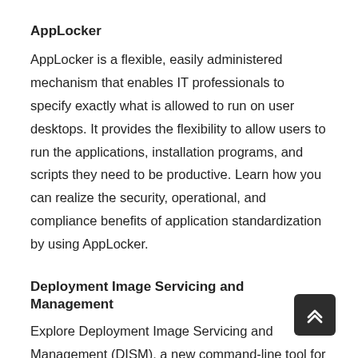AppLocker
AppLocker is a flexible, easily administered mechanism that enables IT professionals to specify exactly what is allowed to run on user desktops. It provides the flexibility to allow users to run the applications, installation programs, and scripts they need to be productive. Learn how you can realize the security, operational, and compliance benefits of application standardization by using AppLocker.
Deployment Image Servicing and Management
Explore Deployment Image Servicing and Management (DISM), a new command-line tool for Windows 7 and Windows Server 2008 R2. DISM